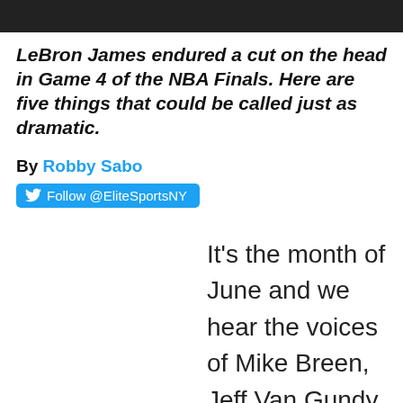LeBron James endured a cut on the head in Game 4 of the NBA Finals. Here are five things that could be called just as dramatic.
By Robby Sabo
Follow @EliteSportsNY
It's the month of June and we hear the voices of Mike Breen, Jeff Van Gundy and Mark Jackson. This can only mean the drama of the NBA Playoffs has hit us.